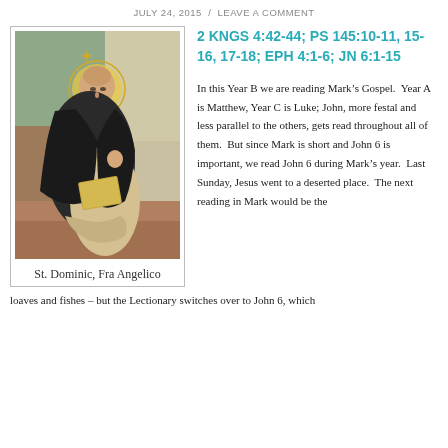JULY 24, 2015  /  LEAVE A COMMENT
[Figure (illustration): Painting of St. Dominic by Fra Angelico, seated figure in black Dominican habit with halo, reading a book]
St. Dominic, Fra Angelico
2 KNGS 4:42-44; PS 145:10-11, 15-16, 17-18; EPH 4:1-6; JN 6:1-15
In this Year B we are reading Mark’s Gospel.  Year A is Matthew, Year C is Luke; John, more festal and less parallel to the others, gets read throughout all of them.  But since Mark is short and John 6 is important, we read John 6 during Mark’s year.  Last Sunday, Jesus went to a deserted place.  The next reading in Mark would be the loaves and fishes – but the Lectionary switches over to John 6, which